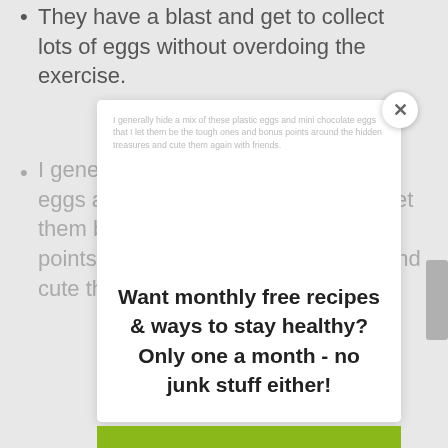They have a blast and get to collect lots of eggs without overdoing the exercise.
I generally hide a mix of these plastic eggs and mini chocolate eggs that I let them be the tough ones and bonus points around the hidden treasures and cute them again with friends.
[Figure (screenshot): Modal popup overlay with close button (x) in top right corner]
Want monthly free recipes & ways to stay healthy? Only one a month - no junk stuff either!